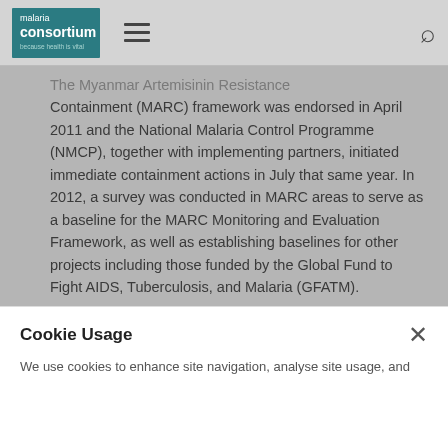malaria consortium [navigation bar with hamburger menu and search icon]
The Myanmar Artemisinin Resistance Containment (MARC) framework was endorsed in April 2011 and the National Malaria Control Programme (NMCP), together with implementing partners, initiated immediate containment actions in July that same year. In 2012, a survey was conducted in MARC areas to serve as a baseline for the MARC Monitoring and Evaluation Framework, as well as establishing baselines for other projects including those funded by the Global Fund to Fight AIDS, Tuberculosis, and Malaria (GFATM).
Cookie Usage
We use cookies to enhance site navigation, analyse site usage, and